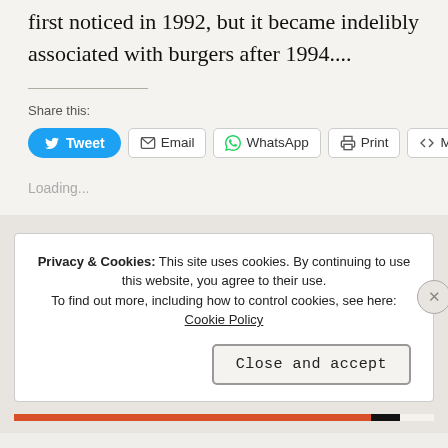first noticed in 1992, but it became indelibly associated with burgers after 1994....
Share this:
Tweet | Email | WhatsApp | Print | More
Loading...
Privacy & Cookies: This site uses cookies. By continuing to use this website, you agree to their use. To find out more, including how to control cookies, see here: Cookie Policy
Close and accept